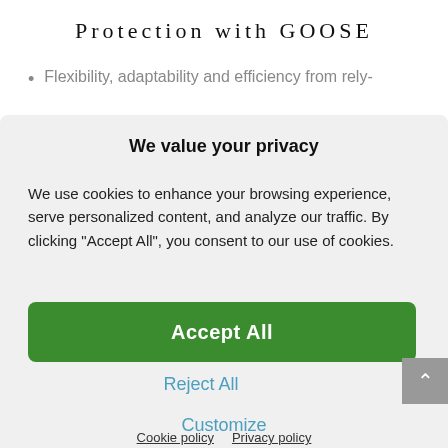Protection with GOOSE
Flexibility, adaptability and efficiency from rely-
We value your privacy
We use cookies to enhance your browsing experience, serve personalized content, and analyze our traffic. By clicking "Accept All", you consent to our use of cookies.
Accept All
Reject All
Customize
Cookie policy  Privacy policy